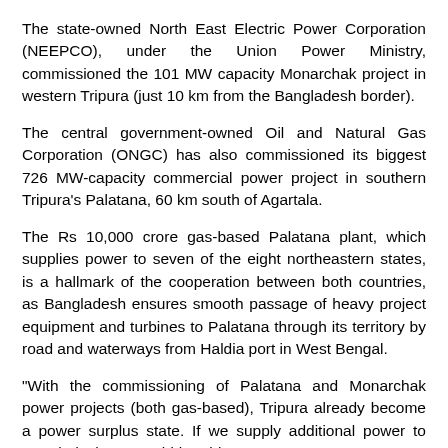The state-owned North East Electric Power Corporation (NEEPCO), under the Union Power Ministry, commissioned the 101 MW capacity Monarchak project in western Tripura (just 10 km from the Bangladesh border).
The central government-owned Oil and Natural Gas Corporation (ONGC) has also commissioned its biggest 726 MW-capacity commercial power project in southern Tripura's Palatana, 60 km south of Agartala.
The Rs 10,000 crore gas-based Palatana plant, which supplies power to seven of the eight northeastern states, is a hallmark of the cooperation between both countries, as Bangladesh ensures smooth passage of heavy project equipment and turbines to Palatana through its territory by road and waterways from Haldia port in West Bengal.
"With the commissioning of Palatana and Monarchak power projects (both gas-based), Tripura already become a power surplus state. If we supply additional power to Bangladesh we would be able to earn extra revenue," Dey added.